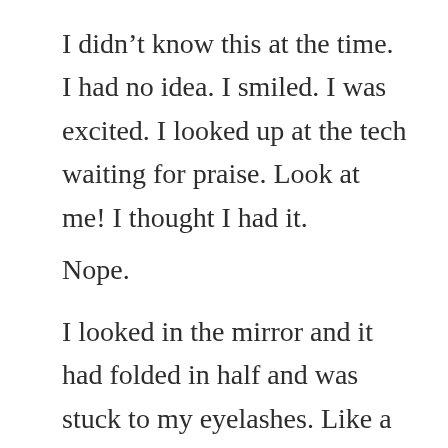I didn't know this at the time. I had no idea. I smiled. I was excited. I looked up at the tech waiting for praise. Look at me! I thought I had it.
Nope.
I looked in the mirror and it had folded in half and was stuck to my eyelashes. Like a clump of glue on Pre-K macaroni art. Right there on